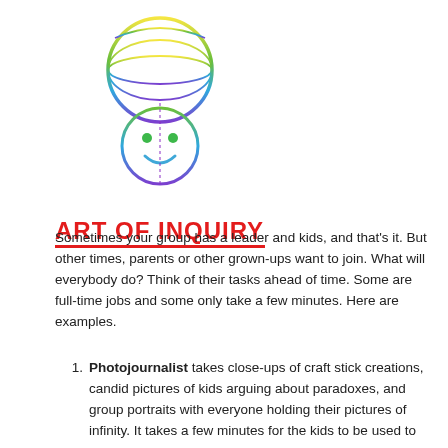[Figure (logo): Art of Inquiry logo: a colorful rainbow-gradient globe/grid above a square frame containing a simple face (two green dot eyes, blue smile arc), with a book shape at the bottom of the frame. Below the frame, bold red text reads ART OF INQUIRY with a red underline.]
Sometimes your group has a leader and kids, and that’s it. But other times, parents or other grown-ups want to join. What will everybody do? Think of their tasks ahead of time. Some are full-time jobs and some only take a few minutes. Here are examples.
Photojournalist takes close-ups of craft stick creations, candid pictures of kids arguing about paradoxes, and group portraits with everyone holding their pictures of infinity. It takes a few minutes for the kids to be used to